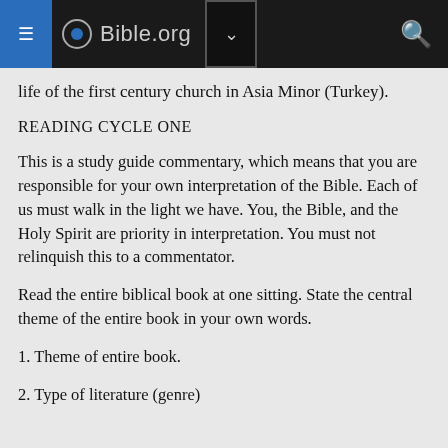Bible.org
life of the first century church in Asia Minor (Turkey).
READING CYCLE ONE
This is a study guide commentary, which means that you are responsible for your own interpretation of the Bible. Each of us must walk in the light we have. You, the Bible, and the Holy Spirit are priority in interpretation. You must not relinquish this to a commentator.
Read the entire biblical book at one sitting. State the central theme of the entire book in your own words.
1. Theme of entire book.
2. Type of literature (genre)